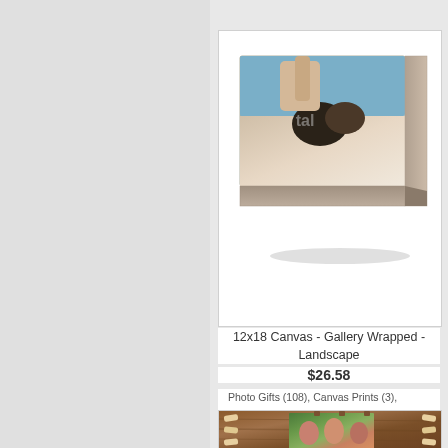[Figure (photo): Product listing card showing a 12x18 gallery-wrapped landscape canvas print featuring a couple at the beach. The canvas is shown in perspective with face and side visible.]
12x18 Canvas - Gallery Wrapped - Landscape
$26.58
Photo Gifts (108), Canvas Prints (3),
[Figure (photo): Partially visible product listing showing a rustic wooden photo frame with lacing/twine decoration, containing a photo of a smiling family group outdoors.]